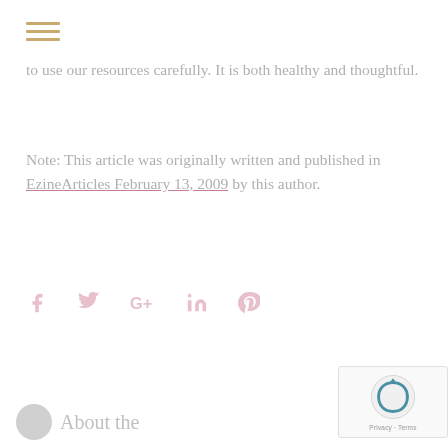☰ (hamburger menu icon)
to use our resources carefully. It is both healthy and thoughtful.
Note: This article was originally written and published in EzineArticles February 13, 2009 by this author.
[Figure (infographic): Social media share icons: Facebook (f), Twitter (bird), Google+ (G+), LinkedIn (in), Pinterest (P)]
[Figure (other): reCAPTCHA widget — Privacy · Terms]